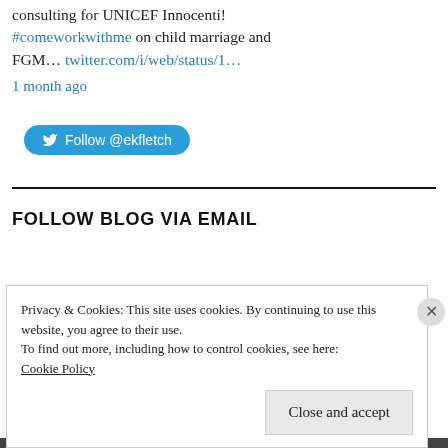Last day to apply to the anti-roster of consulting for UNICEF Innocenti! #comeworkwithme on child marriage and FGM... twitter.com/i/web/status/1...
1 month ago
Follow @ekfletch
FOLLOW BLOG VIA EMAIL
Privacy & Cookies: This site uses cookies. By continuing to use this website, you agree to their use.
To find out more, including how to control cookies, see here: Cookie Policy
Close and accept